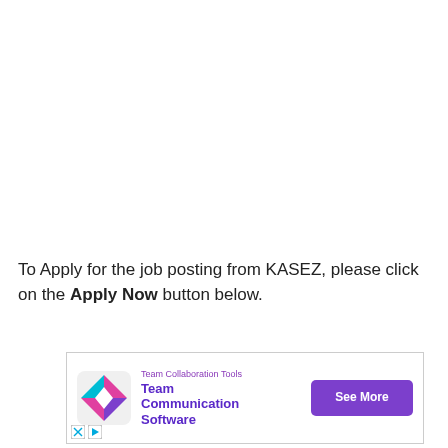To Apply for the job posting from KASEZ, please click on the Apply Now button below.
[Figure (infographic): Advertisement for Team Communication Software with a colorful diamond logo, purple label 'Team Collaboration Tools', bold purple text 'Team Communication Software', and a purple 'See More' button. Small X and play icons at bottom left.]